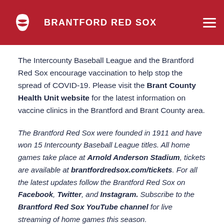BRANTFORD RED SOX
The Intercounty Baseball League and the Brantford Red Sox encourage vaccination to help stop the spread of COVID-19. Please visit the Brant County Health Unit website for the latest information on vaccine clinics in the Brantford and Brant County area.
The Brantford Red Sox were founded in 1911 and have won 15 Intercounty Baseball League titles. All home games take place at Arnold Anderson Stadium, tickets are available at brantfordredsox.com/tickets. For all the latest updates follow the Brantford Red Sox on Facebook, Twitter, and Instagram. Subscribe to the Brantford Red Sox YouTube channel for live streaming of home games this season.